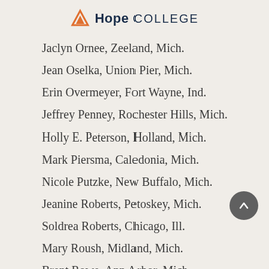Hope College
Jaclyn Ornee, Zeeland, Mich.
Jean Oselka, Union Pier, Mich.
Erin Overmeyer, Fort Wayne, Ind.
Jeffrey Penney, Rochester Hills, Mich.
Holly E. Peterson, Holland, Mich.
Mark Piersma, Caledonia, Mich.
Nicole Putzke, New Buffalo, Mich.
Jeanine Roberts, Petoskey, Mich.
Soldrea Roberts, Chicago, Ill.
Mary Roush, Midland, Mich.
Brent Rowe, Ann Arbor, Mich.
Gina Rowe, Portage, Mich.
Joshua Schicker, Roscommon, Mich.
Rebecca Schmidt, Holland, Mich.